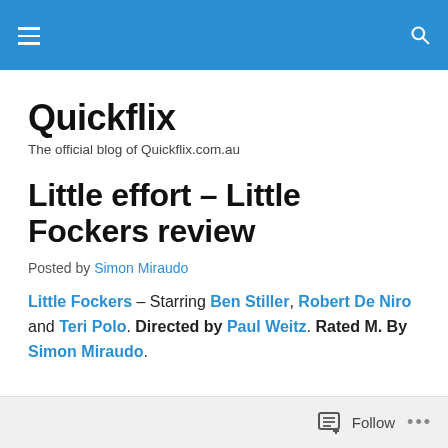Quickflix [navigation header bar with hamburger menu and search icon]
Quickflix
The official blog of Quickflix.com.au
Little effort – Little Fockers review
Posted by Simon Miraudo
Little Fockers – Starring Ben Stiller, Robert De Niro and Teri Polo. Directed by Paul Weitz. Rated M. By Simon Miraudo.
Follow ...